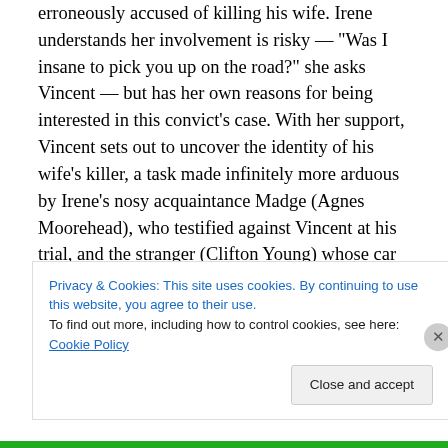erroneously accused of killing his wife. Irene understands her involvement is risky — "Was I insane to pick you up on the road?" she asks Vincent — but has her own reasons for being interested in this convict's case. With her support, Vincent sets out to uncover the identity of his wife's killer, a task made infinitely more arduous by Irene's nosy acquaintance Madge (Agnes Moorehead), who testified against Vincent at his trial, and the stranger (Clifton Young) whose car Vincent stole just after his break.
Film noir and even neo-noir films generally aren't noted for
Privacy & Cookies: This site uses cookies. By continuing to use this website, you agree to their use.
To find out more, including how to control cookies, see here: Cookie Policy
Close and accept